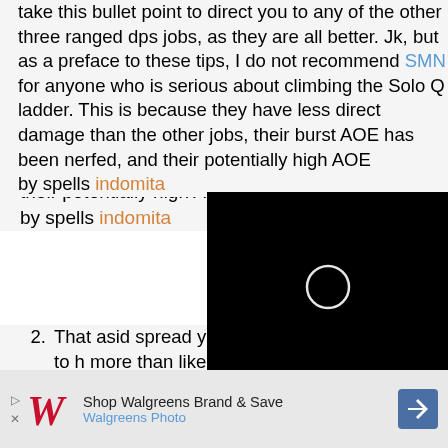take this bullet point to direct you to any of the other three ranged dps jobs, as they are all better. Jk, but as a preface to these tips, I do not recommend SMN for anyone who is serious about climbing the Solo Q ladder. This is because they have less direct damage than the other jobs, their burst AOE has been nerfed, and their potentially high AOE … by spells … indomita…
2. That asid… spread yo… while bei… though al… team to h… more than likely not have enough damage to do it on your own.)
[Figure (screenshot): Black video overlay with loading circle in center]
3. Use ruin 3, even outside of DWT (Dreadwyrm Trance). It is a hard hitting … consumption, but this is better than
[Figure (screenshot): Walgreens advertisement bar: Shop Walgreens Brand & Save, Walgreens Photo]